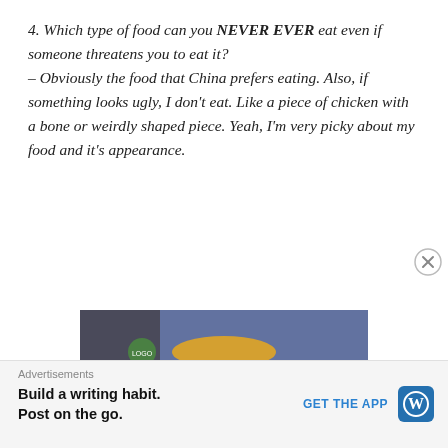4. Which type of food can you NEVER EVER eat even if someone threatens you to eat it? – Obviously the food that China prefers eating. Also, if something looks ugly, I don't eat. Like a piece of chicken with a bone or weirdly shaped piece. Yeah, I'm very picky about my food and it's appearance.
[Figure (photo): A green puppet/muppet character with long blonde hair wearing a teal knitted sweater, appearing to look picky or disgusted, with a blue/purple blurred background.]
Advertisements
Build a writing habit. Post on the go.